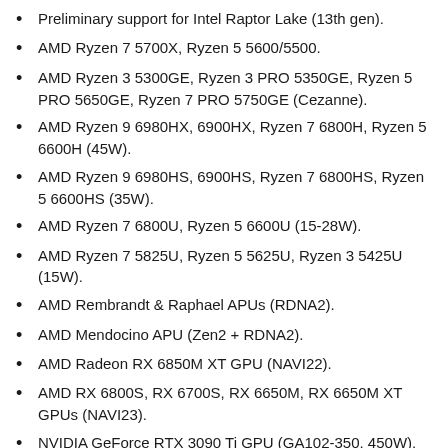Preliminary support for Intel Raptor Lake (13th gen).
AMD Ryzen 7 5700X, Ryzen 5 5600/5500.
AMD Ryzen 3 5300GE, Ryzen 3 PRO 5350GE, Ryzen 5 PRO 5650GE, Ryzen 7 PRO 5750GE (Cezanne).
AMD Ryzen 9 6980HX, 6900HX, Ryzen 7 6800H, Ryzen 5 6600H (45W).
AMD Ryzen 9 6980HS, 6900HS, Ryzen 7 6800HS, Ryzen 5 6600HS (35W).
AMD Ryzen 7 6800U, Ryzen 5 6600U (15-28W).
AMD Ryzen 7 5825U, Ryzen 5 5625U, Ryzen 3 5425U (15W).
AMD Rembrandt & Raphael APUs (RDNA2).
AMD Mendocino APU (Zen2 + RDNA2).
AMD Radeon RX 6850M XT GPU (NAVI22).
AMD RX 6800S, RX 6700S, RX 6650M, RX 6650M XT GPUs (NAVI23).
NVIDIA GeForce RTX 3090 Ti GPU (GA102-350, 450W).
Improved information accuracy when core isolation is enabled.